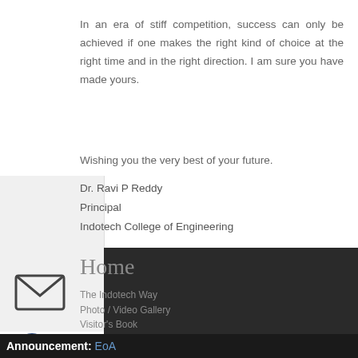In an era of stiff competition, success can only be achieved if one makes the right kind of choice at the right time and in the right direction. I am sure you have made yours.
Wishing you the very best of your future.
Dr. Ravi P Reddy
Principal
Indotech College of Engineering
Home
The Indotech Way
Photo / Video Gallery
Visitor's Book
Anti Ragging
Mission & Vision
Announcement: EoA